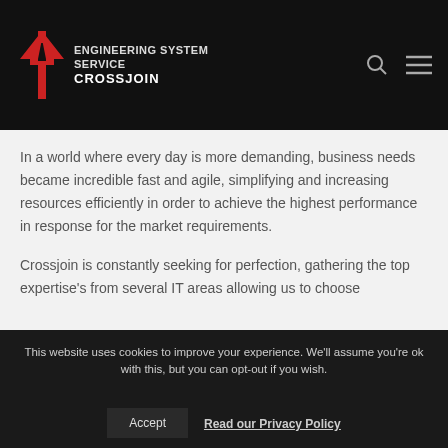[Figure (logo): Crossjoin logo with red arrow/branch icon and text 'ENGINEERING SYSTEM SERVICE CROSSJOIN' on dark background header]
In a world where every day is more demanding, business needs became incredible fast and agile, simplifying and increasing resources efficiently in order to achieve the highest performance in response for the market requirements.
Crossjoin is constantly seeking for perfection, gathering the top expertise's from several IT areas allowing us to choose
This website uses cookies to improve your experience. We'll assume you're ok with this, but you can opt-out if you wish.
Accept   Read our Privacy Policy